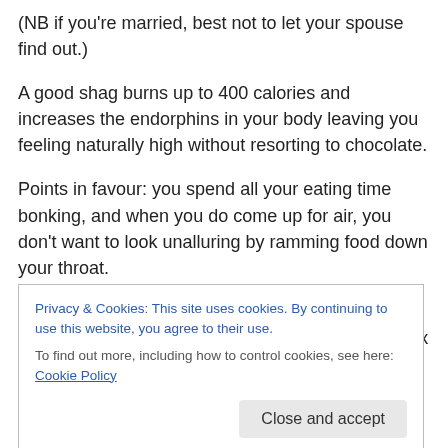(NB if you're married, best not to let your spouse find out.)
A good shag burns up to 400 calories and increases the endorphins in your body leaving you feeling naturally high without resorting to chocolate.
Points in favour: you spend all your eating time bonking, and when you do come up for air, you don't want to look unalluring by ramming food down your throat.
Points against: if you're single, you might fall in love, decide to get married and that will be your sex life gone for
Privacy & Cookies: This site uses cookies. By continuing to use this website, you agree to their use.
To find out more, including how to control cookies, see here: Cookie Policy